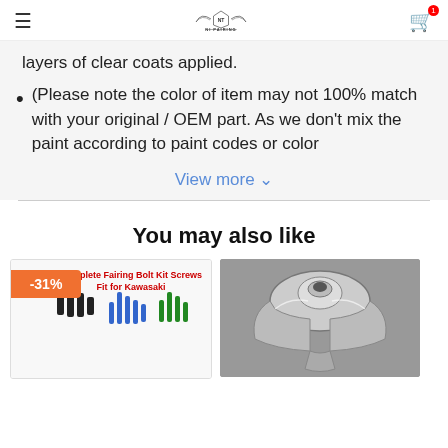NI PAIRING
layers of clear coats applied.
(Please note the color of item may not 100% match with your original / OEM part. As we don't mix the paint according to paint codes or color
View more ˅
You may also like
[Figure (photo): Product card showing Complete Fairing Bolt Kit Screws Fit for Kawasaki with -31% discount badge, showing black, blue, and green screws/bolts]
[Figure (photo): Product card showing a motorcycle fairing set in grey/white color, viewed from front]